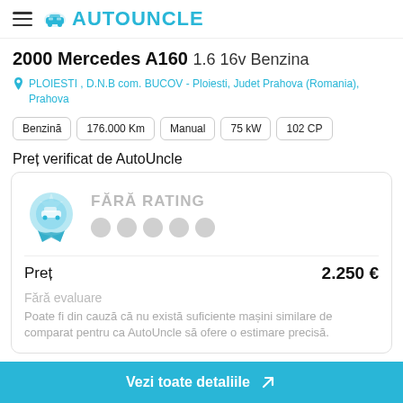AUTOUNCLE
2000 Mercedes A160 1.6 16v Benzina
PLOIESTI , D.N.B com. BUCOV - Ploiesti, Judet Prahova (Romania), Prahova
Benzină
176.000 Km
Manual
75 kW
102 CP
Preț verificat de AutoUncle
FĂRĂ RATING
Preț   2.250 €
Fără evaluare
Poate fi din cauză că nu există suficiente mașini similare de comparat pentru ca AutoUncle să ofere o estimare precisă.
Vezi toate detaliile